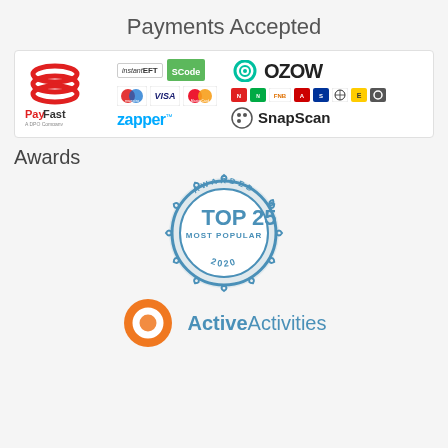Payments Accepted
[Figure (logo): Payment provider logos: PayFast (A DPO Company), instantEFT, SCode, OZOW, Maestro, VISA, MasterCard, bank logos, Zapper, SnapScan]
Awards
[Figure (logo): Awarded TOP25 Most Popular 2020 badge from ActiveActivities, with orange ActiveActivities logo circle and ActiveActivities text]